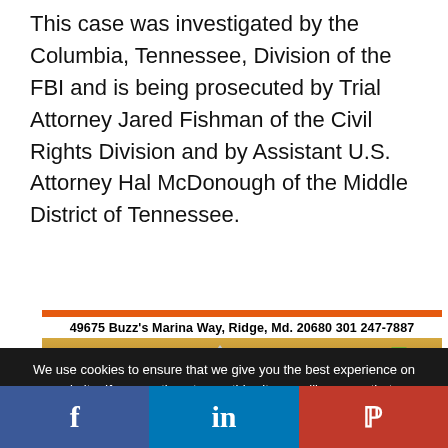This case was investigated by the Columbia, Tennessee, Division of the FBI and is being prosecuted by Trial Attorney Jared Fishman of the Civil Rights Division and by Assistant U.S. Attorney Hal McDonough of the Middle District of Tennessee.
[Figure (photo): Advertisement for Buzz's Marina showing two men holding large fish with overlaid fish illustrations (striped bass, shark, perch), yellow text 'Buzzsmarina.com' and 'We offer Charter Boat service on our boat DREAM MAKER', with address '49675 Buzz's Marina Way, Ridge, Md. 20680 301 247-7887']
We use cookies to ensure that we give you the best experience on our website. If you continue to use this site we will assume that you are happy with it. This website is not intended for those who live in the European Economic Area.
[Figure (infographic): Social media sharing bar with Facebook (blue), LinkedIn (blue), and Parler (red) icons]